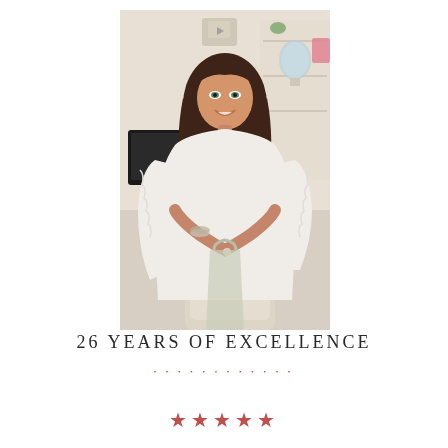[Figure (photo): A smiling woman with dark wavy hair wearing a white lace blouse, leaning on a piece of furniture in an elegant office/studio setting with a computer monitor and decorative shelving in the background.]
26 YEARS OF EXCELLENCE
• • • • • • • • • • • •
★★★★★